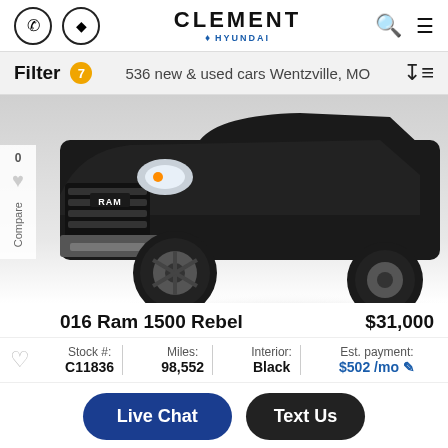Clement Hyundai
Filter 7 · 536 new & used cars Wentzville, MO
[Figure (photo): Front-end close-up of a black RAM 1500 Rebel truck on white background, showing grille with RAM badge, headlights, and front wheel with alloy rim]
016 Ram 1500 Rebel  $31,000
Stock #: C11836 | Miles: 98,552 | Interior: Black | Est. payment: $502 /mo
Live Chat  Text Us
[Figure (photo): Partial view of next car listing with NEW badge, bluish-gray vehicle visible at bottom edge]